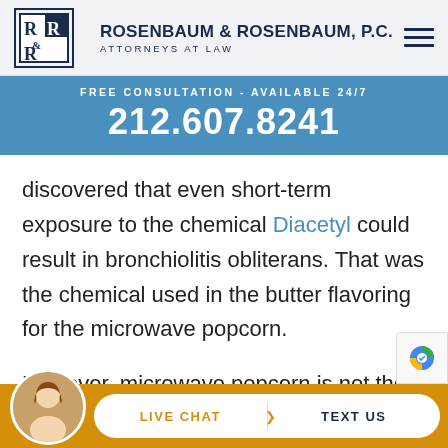[Figure (logo): Rosenbaum & Rosenbaum, P.C. law firm logo with R&R monogram in a square border, followed by firm name and 'Attorneys at Law' tagline, with hamburger menu icon]
FREE CONSULTATION - AVAILABLE 24/7
212.607.8241
discovered that even short-term exposure to the chemical Diacetyl could result in bronchiolitis obliterans. That was the chemical used in the butter flavoring for the microwave popcorn.
However, microwave popcorn is not the only item that uses Diacetyl for flavoring. The chemical is also us[e] [t]he
[Figure (photo): Live chat widget with female agent avatar, LIVE CHAT and TEXT US buttons in a pill-shaped white button on gold/amber background]